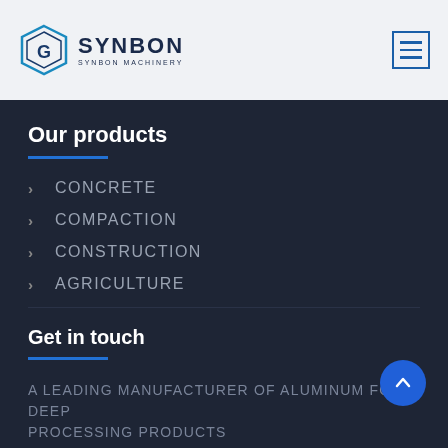[Figure (logo): SYNBON hexagonal logo with stylized G icon and text 'SYNBON MACHINERY']
Our products
CONCRETE
COMPACTION
CONSTRUCTION
AGRICULTURE
Get in touch
A LEADING MANUFACTURER OF ALUMINUM FOIL DEEP PROCESSING PRODUCTS